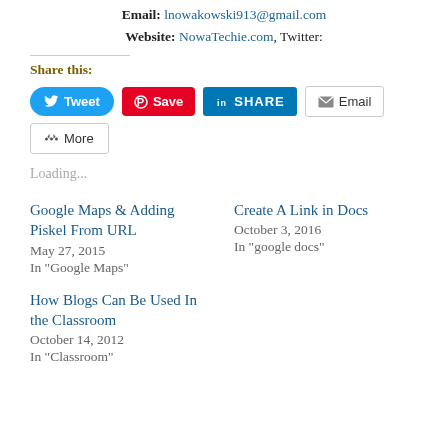Email: lnowakowski913@gmail.com
Website: NowaTechie.com, Twitter:
Share this:
[Figure (other): Social share buttons: Tweet (Twitter/blue), Save (Pinterest/red), SHARE (LinkedIn/blue), Email (grey outline), More (grey outline)]
Loading...
Google Maps & Adding Piskel From URL
May 27, 2015
In "Google Maps"
Create A Link in Docs
October 3, 2016
In "google docs"
How Blogs Can Be Used In the Classroom
October 14, 2012
In "Classroom"